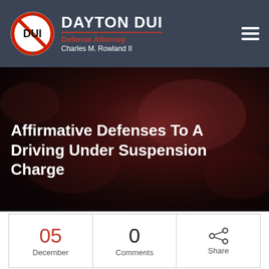DAYTON DUI Defense Attorney Charles M. Rowland II
Affirmative Defenses To A Driving Under Suspension Charge
| Date | Comments | Share |
| --- | --- | --- |
| 05
December | 0
Comments | Share |
Affirmative Defenses to a Driving Under